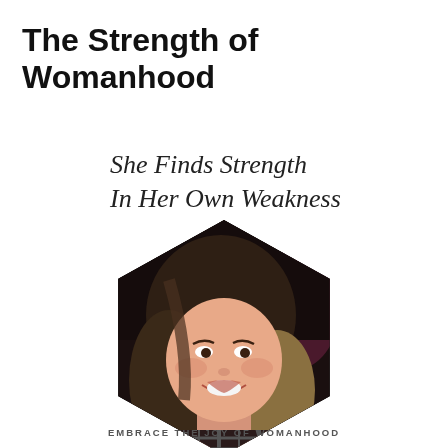The Strength of Womanhood
She Finds Strength In Her Own Weakness
[Figure (photo): A smiling woman with brown and blonde hair wearing a plaid shirt, photo cropped into a hexagon shape]
EMBRACE THE JOY OF WOMANHOOD